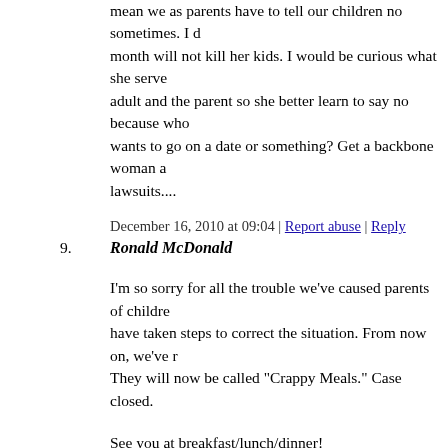mean we as parents have to tell our children no sometimes. I d month will not kill her kids. I would be curious what she serve adult and the parent so she better learn to say no because who wants to go on a date or something? Get a backbone woman a lawsuits....
December 16, 2010 at 09:04 | Report abuse | Reply
9. Ronald McDonald
I'm so sorry for all the trouble we've caused parents of childre have taken steps to correct the situation. From now on, we've r They will now be called "Crappy Meals." Case closed.
See you at breakfast/lunch/dinner!
Love,
Ron McD
December 16, 2010 at 09:04 | Report abuse | Reply
10. Renee
This is ridiculous! The Department of Social Services should r from her care IMMEDIATELY. She clearly is not a capable pa McDonalds should fight this all the way to the Supreme Court. responsibility for their own actions and responsibility for the c